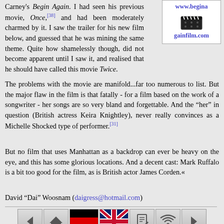Carney's Begin Again. I had seen his previous movie, Once,[38] and had been moderately charmed by it. I saw the trailer for his new film below, and guessed that he was mining the same theme. Quite how shamelessly though, did not become apparent until I saw it, and realised that he should have called this movie Twice.
[Figure (other): Sidebar box with www.beginagainfilm.com link, film clapperboard icon, and gainfilm.com link]
The problems with the movie are manifold...far too numerous to list. But the major flaw in the film is that fatally - for a film based on the work of a songwriter - her songs are so very bland and forgettable. And the "her" in question (British actress Keira Knightley), never really convinces as a Michelle Shocked type of performer.[31]
But no film that uses Manhattan as a backdrop can ever be heavy on the eye, and this has some glorious locations. And a decent cast: Mark Ruffalo is a bit too good for the film, as is British actor James Corden.«
David "Dai" Woosnam (daigress@hotmail.com)
[Figure (other): Navigation bar with back arrow, home, German flag, UK flag, edit, broadcast, and forward arrow icons, plus second row with speech bubble, search, book, person, frog, magnifier, envelope icons]